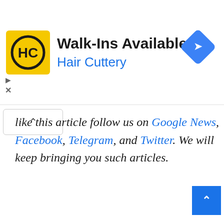[Figure (other): Hair Cuttery advertisement banner with yellow square logo showing 'HC' initials, text 'Walk-Ins Available' and 'Hair Cuttery' in blue, and a blue diamond-shaped navigation arrow icon on the right]
like this article follow us on Google News, Facebook, Telegram, and Twitter. We will keep bringing you such articles.